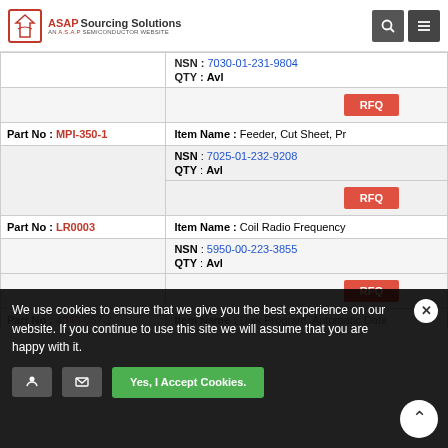ASAP Sourcing Solutions - AN A.S.A.P SEMICONDUCTOR WEBSITE
| Part No | Item Name / NSN / QTY |
| --- | --- |
|  | NSN: 7030-01-231-9804 | QTY: Avl |
| MPI-350-1 | Item Name: Feeder, Cut Sheet, Pr | NSN: 7025-01-232-9208 | QTY: Avl |
| LR0003 | Item Name: Coil Radio Frequency | NSN: 5950-00-223-3855 | QTY: Avl |
| 4048-057-2 (partial) | Item Name: Disk Program, Automatic Data P... | NSN: 7030-01-229-0569 (partial) |
We use cookies to ensure that we give you the best experience on our website. If you continue to use this site we will assume that you are happy with it.